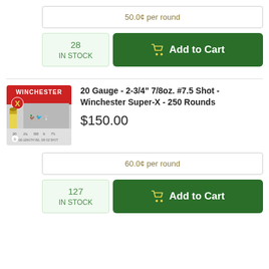50.0¢ per round
28
IN STOCK
Add to Cart
[Figure (photo): Winchester Super-X 20 gauge shotgun shells box with yellow and red shells]
20 Gauge - 2-3/4" 7/8oz. #7.5 Shot - Winchester Super-X - 250 Rounds
$150.00
60.0¢ per round
127
IN STOCK
Add to Cart